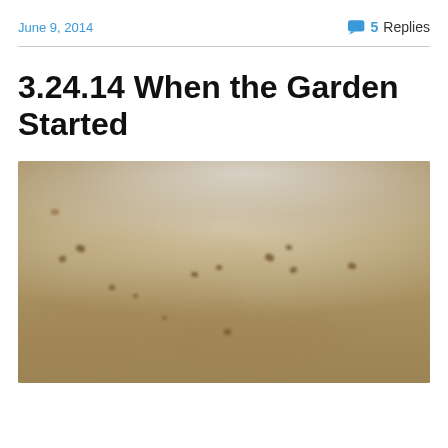June 9, 2014
5 Replies
3.24.14 When the Garden Started
[Figure (photo): Close-up blurry photo of small seeds scattered on a light tan/beige paper or soil surface, shallow depth of field]